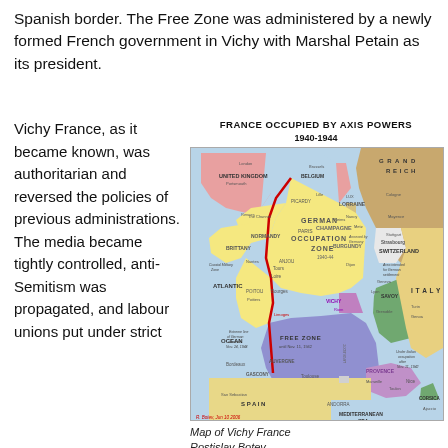Spanish border. The Free Zone was administered by a newly formed French government in Vichy with Marshal Petain as its president.
Vichy France, as it became known, was authoritarian and reversed the policies of previous administrations. The media became tightly controlled, anti-Semitism was propagated, and labour unions put under strict
[Figure (map): Map of France occupied by Axis Powers 1940-1944, showing German Occupation Zone, Free Zone, Italian occupation areas, and surrounding countries including Spain, United Kingdom, Belgium, Switzerland, and Italy. Title: FRANCE OCCUPIED BY AXIS POWERS 1940-1944]
Map of Vichy France
Rostislav Botev